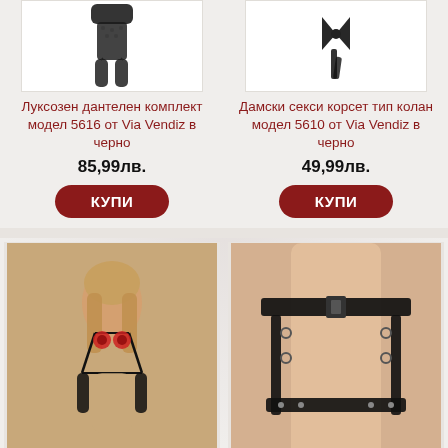[Figure (photo): Black lace lingerie stockings/bodysuit product photo on white background]
Луксозен дантелен комплект модел 5616 от Via Vendiz в черно
85,99лв.
КУПИ
[Figure (photo): Black satin corset/belt product photo on white background]
Дамски секси корсет тип колан модел 5610 от Via Vendiz в черно
49,99лв.
КУПИ
[Figure (photo): Woman wearing red floral strappy bodysuit with black gloves]
Провокативно боди с
[Figure (photo): Close-up of black leather gothic garter harness straps on female body]
Кожени готик каиши за